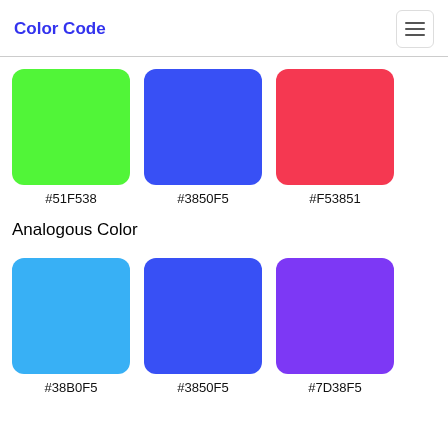Color Code
[Figure (infographic): Three color swatches: green #51F538, blue #3850F5, red #F53851]
#51F538   #3850F5   #F53851
Analogous Color
[Figure (infographic): Three color swatches: light blue #38B0F5, blue #3850F5, purple #7D38F5]
#38B0F5   #3850F5   #7D38F5